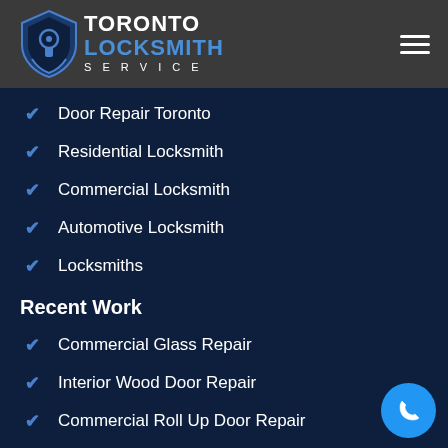[Figure (logo): Toronto Locksmith Service logo with shield icon, white and blue text on dark gray background]
Door Repair Toronto
Residential Locksmith
Commercial Locksmith
Automotive Locksmith
Locksmiths
Recent Work
Commercial Glass Repair
Interior Wood Door Repair
Commercial Roll Up Door Repair
Break in Repair
Glass Door Repair